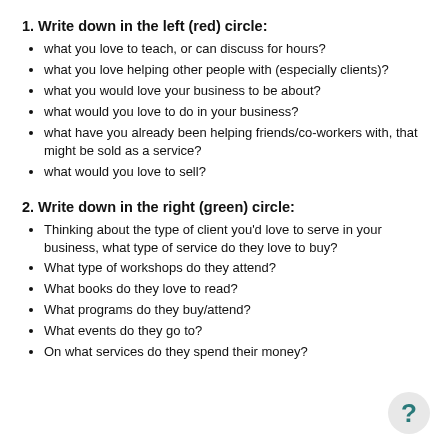1. Write down in the left (red) circle:
what you love to teach, or can discuss for hours?
what you love helping other people with (especially clients)?
what you would love your business to be about?
what would you love to do in your business?
what have you already been helping friends/co-workers with, that might be sold as a service?
what would you love to sell?
2. Write down in the right (green) circle:
Thinking about the type of client you'd love to serve in your business, what type of service do they love to buy?
What type of workshops do they attend?
What books do they love to read?
What programs do they buy/attend?
What events do they go to?
On what services do they spend their money?